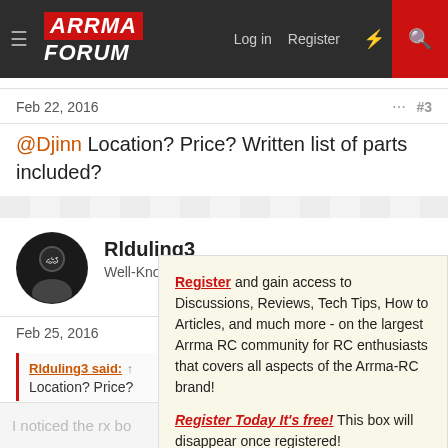ARRMA FORUM — Log in | Register
Feb 22, 2016   #3
@Djinn Location? Price? Written list of parts included?
Rlduling3 — Well-Known Member
Feb 25, 2016   #4
Rlduling3 said: Location? Price?
I noticed the rx bo
Register and gain access to Discussions, Reviews, Tech Tips, How to Articles, and much more - on the largest Arrma RC community for RC enthusiasts that covers all aspects of the Arrma-RC brand! Register Today It's free! This box will disappear once registered!